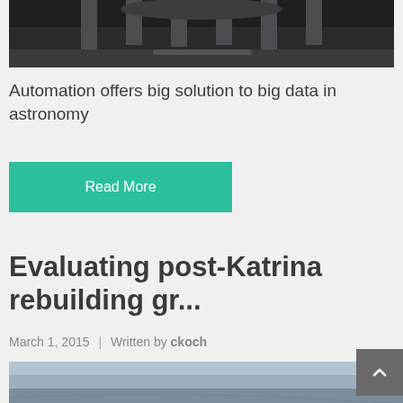[Figure (photo): Top portion of a photo showing what appears to be a fountain or observatory structure with columns against a dark background]
Automation offers big solution to big data in astronomy
Read More
Evaluating post-Katrina rebuilding gr...
March 1, 2015 | Written by ckoch
[Figure (photo): Aerial photograph of a coastal city, likely New Orleans, showing urban landscape with water in the background]